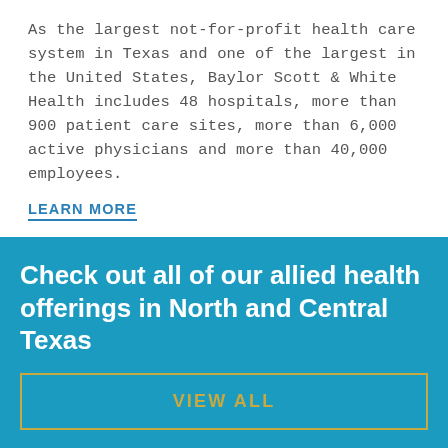As the largest not-for-profit health care system in Texas and one of the largest in the United States, Baylor Scott & White Health includes 48 hospitals, more than 900 patient care sites, more than 6,000 active physicians and more than 40,000 employees.
LEARN MORE
Check out all of our allied health offerings in North and Central Texas
VIEW ALL
[Figure (logo): Baylor Scott & White Health logo with cross symbol]